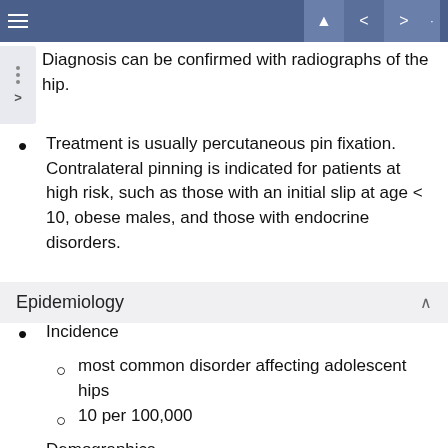Navigation bar with hamburger menu and nav buttons
Diagnosis can be confirmed with radiographs of the hip.
Treatment is usually percutaneous pin fixation. Contralateral pinning is indicated for patients at high risk, such as those with an initial slip at age < 10, obese males, and those with endocrine disorders.
Epidemiology
Incidence
most common disorder affecting adolescent hips
10 per 100,000
Demographics
more common in
obese children